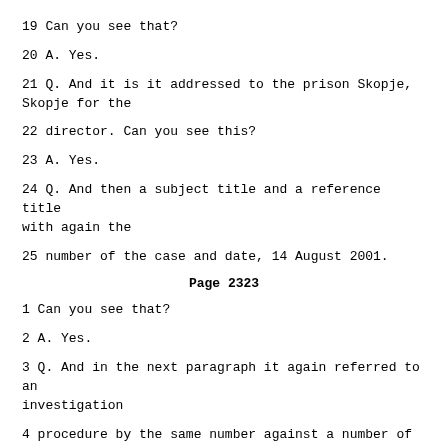19 Can you see that?
20 A. Yes.
21 Q. And it is it addressed to the prison Skopje, Skopje for the
22 director. Can you see this?
23 A. Yes.
24 Q. And then a subject title and a reference title with again the
25 number of the case and date, 14 August 2001.
Page 2323
1 Can you see that?
2 A. Yes.
3 Q. And in the next paragraph it again referred to an investigation
4 procedure by the same number against a number of individuals and if you
5 look at the third line there's the name Qaili Atulla. Is that correct?